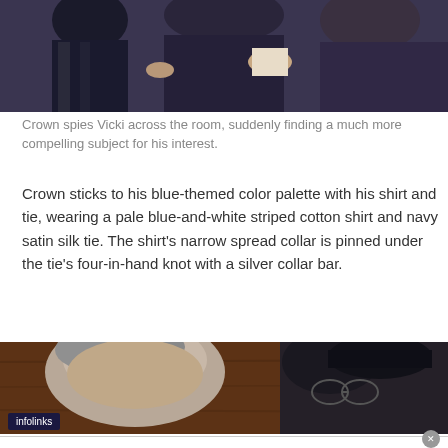[Figure (photo): Top portion of a photo showing people seated at what appears to be a formal event, wearing dark suits; one person is holding papers.]
Crown spies Vicki across the room, suddenly finding a much more compelling subject for his interest.
Crown sticks to his blue-themed color palette with his shirt and tie, wearing a pale blue-and-white striped cotton shirt and navy satin silk tie. The shirt’s narrow spread collar is pinned under the tie’s four-in-hand knot with a silver collar bar.
[Figure (photo): Close-up photo showing a grey-haired man from behind/side, with other people visible in background at what appears to be a formal gathering. An 'infolinks' badge is overlaid in the lower left.]
[Figure (other): Advertisement for Mattress Firm showing checkmarks for In-store shopping, In-store pickup, and Delivery, with the Mattress Firm logo and a blue navigation icon.]